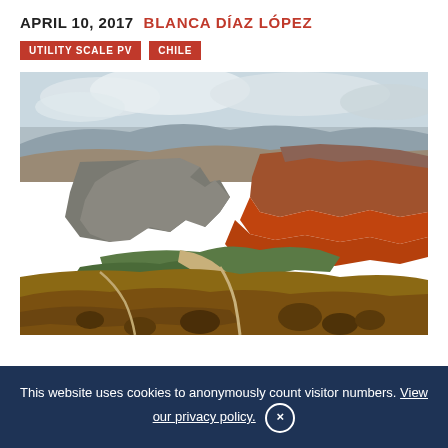APRIL 10, 2017  BLANCA DÍAZ LÓPEZ
UTILITY SCALE PV
CHILE
[Figure (photo): Aerial/landscape view of a dramatic canyon with layered red and grey rock formations, a dry riverbed with sparse green vegetation in the valley, brown rocky foreground, and partly cloudy sky. Likely Atacama or Andean region, Chile.]
This website uses cookies to anonymously count visitor numbers. View our privacy policy.